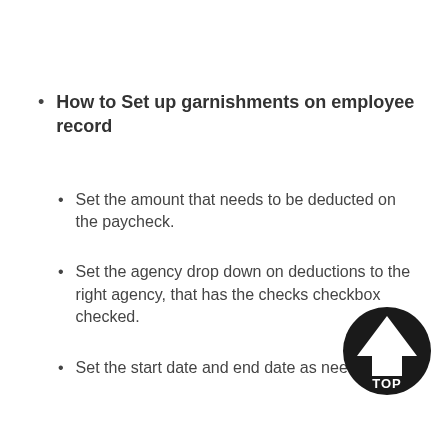How to Set up garnishments on employee record
Set the amount that needs to be deducted on the paycheck.
Set the agency drop down on deductions to the right agency, that has the checks checkbox checked.
Set the start date and end date as needed.